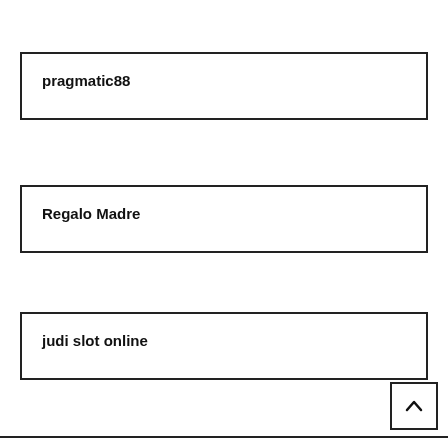pragmatic88
Regalo Madre
judi slot online